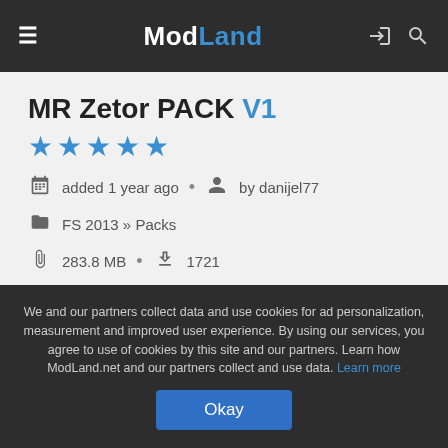ModLand
MR Zetor PACK V1
★★★★★
added 1 year ago • by danijel77
FS 2013 » Packs
283.8 MB • 1721
33 likes
We and our partners collect data and use cookies for ad personalization, measurement and improved user experience. By using our services, you agree to use of cookies by this site and our partners. Learn how ModLand.net and our partners collect and use data. Learn more